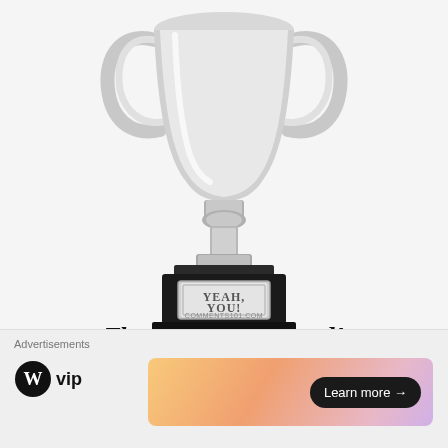[Figure (photo): A silver trophy cup on a black base with a plaque reading 'YEAH, YOU!' and watermark text 'COMMENTS101.COM']
The Smart Ass Award!
Advertisements
[Figure (logo): WordPress VIP logo with circular W icon and 'vip' text]
[Figure (other): Advertisement banner with gradient background and 'Learn more →' button]